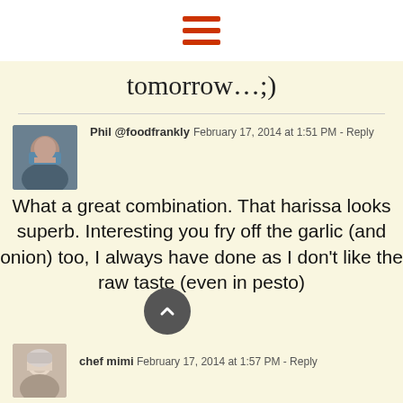[Figure (other): Hamburger menu icon with three red horizontal bars]
tomorrow…;)
Phil @foodfrankly  February 17, 2014 at 1:51 PM - Reply
What a great combination. That harissa looks superb. Interesting you fry off the garlic (and onion) too, I always have done as I don't like the raw taste (even in pesto)
[Figure (photo): Avatar photo of Phil, a man with a beard wearing a blue vest]
[Figure (other): Scroll-up button, dark grey circle with upward chevron]
chef mimi  February 17, 2014 at 1:57 PM - Reply
[Figure (photo): Avatar photo of chef mimi, a woman with light hair]